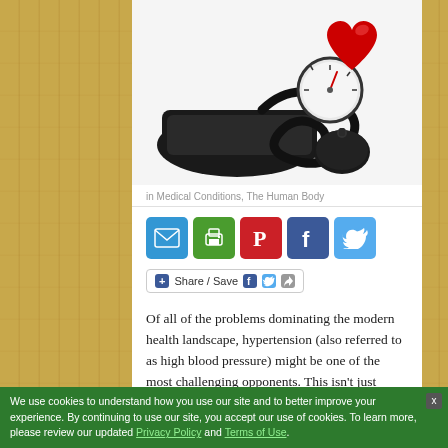[Figure (photo): Blood pressure cuff/sphygmomanometer with a red heart, on white background]
in Medical Conditions, The Human Body
[Figure (infographic): Row of social sharing icon buttons: email (blue), print (green), pinterest (red), facebook (blue), twitter (light blue)]
[Figure (infographic): Share / Save button bar with plus icon, Facebook and Twitter icons, and share arrow icon]
Of all of the problems dominating the modern health landscape, hypertension (also referred to as high blood pressure) might be one of the most challenging opponents. This isn’t just because of the many consequences of
We use cookies to understand how you use our site and to better improve your experience. By continuing to use our site, you accept our use of cookies. To learn more, please review our updated Privacy Policy and Terms of Use.